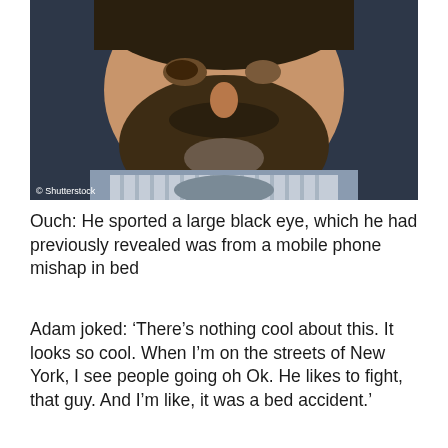[Figure (photo): Close-up photo of a bearded man with a black eye, wearing a grey t-shirt and striped button-up shirt, against a dark background. Photo credit: © Shutterstock]
Ouch: He sported a large black eye, which he had previously revealed was from a mobile phone mishap in bed
Adam joked: ‘There’s nothing cool about this. It looks so cool. When I’m on the streets of New York, I see people going oh Ok. He likes to fight, that guy. And I’m like, it was a bed accident.’